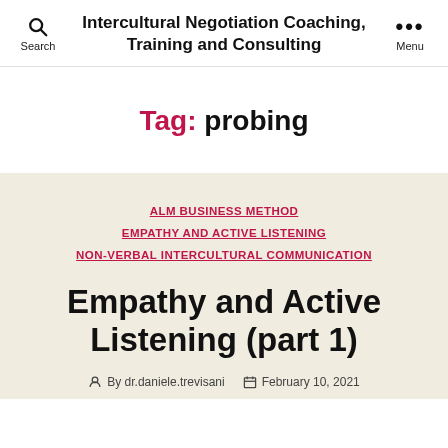Intercultural Negotiation Coaching, Training and Consulting
Tag: probing
ALM BUSINESS METHOD
EMPATHY AND ACTIVE LISTENING
NON-VERBAL INTERCULTURAL COMMUNICATION
Empathy and Active Listening (part 1)
By dr.daniele.trevisani  February 10, 2021